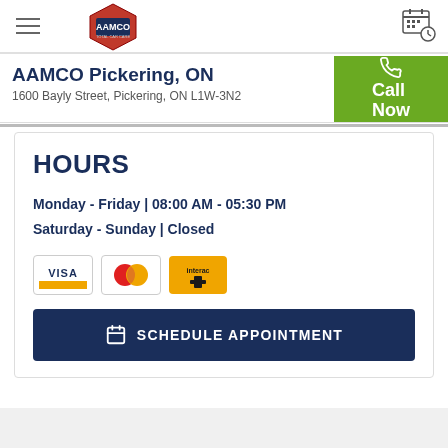AAMCO logo and navigation header
AAMCO Pickering, ON
1600 Bayly Street, Pickering, ON L1W-3N2
HOURS
Monday - Friday | 08:00 AM - 05:30 PM
Saturday - Sunday | Closed
[Figure (logo): Payment method icons: Visa, Mastercard, Interac]
SCHEDULE APPOINTMENT